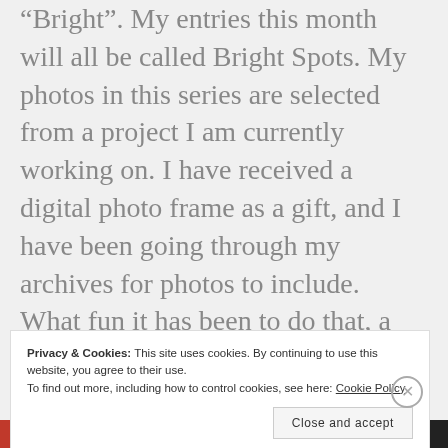“Bright”. My entries this month will all be called Bright Spots. My photos in this series are selected from a project I am currently working on. I have received a digital photo frame as a gift, and I have been going through my archives for photos to include. What fun it has been to do that, a bright spot in my life for sure. I’ll include a bit about each photo entry. Here is today’s entry:
Privacy & Cookies: This site uses cookies. By continuing to use this website, you agree to their use.
To find out more, including how to control cookies, see here: Cookie Policy
Close and accept